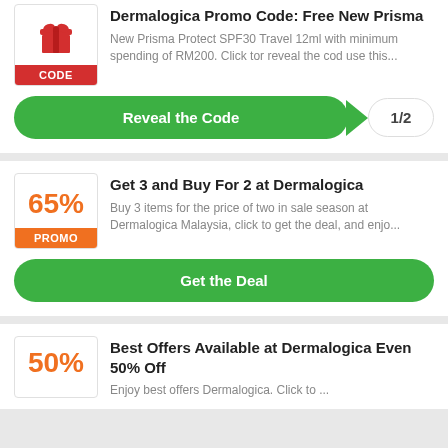[Figure (screenshot): Dermalogica promo code coupon card (partial, top): gift icon badge with CODE label, title 'Dermalogica Promo Code: Free New Prisma', description text 'New Prisma Protect SPF30 Travel 12ml with minimum spending of RM200. Click tor reveal the cod use this...']
[Figure (screenshot): Green 'Reveal the Code' button with arrow pointing right and counter showing 1/2]
[Figure (screenshot): 65% orange badge with PROMO label, title 'Get 3 and Buy For 2 at Dermalogica', description 'Buy 3 items for the price of two in sale season at Dermalogica Malaysia, click to get the deal, and enjo...']
[Figure (screenshot): Green 'Get the Deal' button]
[Figure (screenshot): 50% orange badge with title 'Best Offers Available at Dermalogica Even 50% Off' (partial, bottom card)]